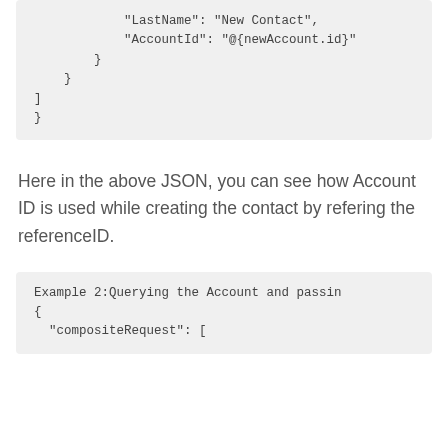[Figure (screenshot): Code block showing JSON snippet with LastName, AccountId fields and closing braces]
Here in the above JSON, you can see how Account ID is used while creating the contact by refering the referenceID.
[Figure (screenshot): Code block showing Example 2: Querying the Account and passing, with opening brace and compositeRequest field]